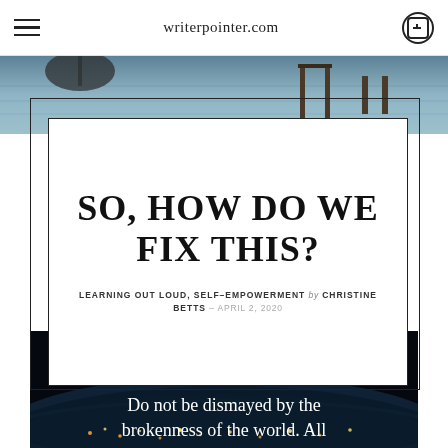writerpointer.com
[Figure (photo): Partial view of a dock/pier over water, cropped at top of page]
SO, HOW DO WE FIX THIS?
LEARNING OUT LOUD, SELF-EMPOWERMENT by CHRISTINE BETTS – APRIL 2, 2020
[Figure (photo): Aerial photo of Earth from space at night showing city lights and atmospheric glow with overlaid quote text: Do not be dismayed by the brokenness of the world. All]